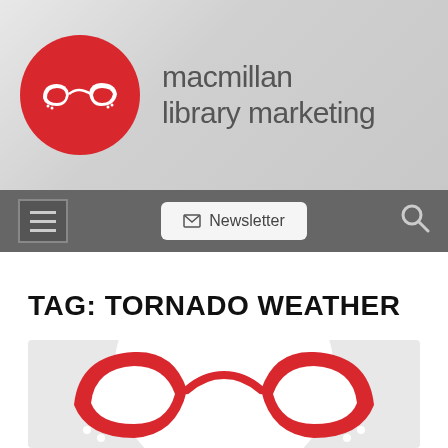[Figure (logo): Macmillan Library Marketing logo with red circle containing white cat-eye glasses icon and site title text 'macmillan library marketing']
[Figure (screenshot): Navigation bar with hamburger menu icon, Newsletter button with envelope icon, and search icon]
TAG: TORNADO WEATHER
[Figure (illustration): Card image with light gray background, white circle, and red cat-eye glasses illustration]